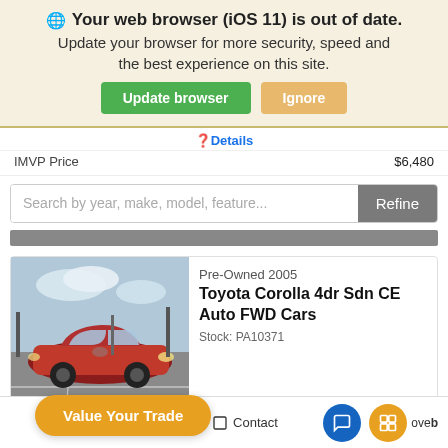🌐 Your web browser (iOS 11) is out of date. Update your browser for more security, speed and the best experience on this site. Update browser | Ignore
❓Details
IMVP Price  $6,480
Search by year, make, model, feature...  Refine
[Figure (screenshot): Car listing photo of a red Toyota Corolla sedan in a parking lot]
Pre-Owned 2005 Toyota Corolla 4dr Sdn CE Auto FWD Cars Stock: PA10371
Value Your Trade
Search  Contact  [chat icons]